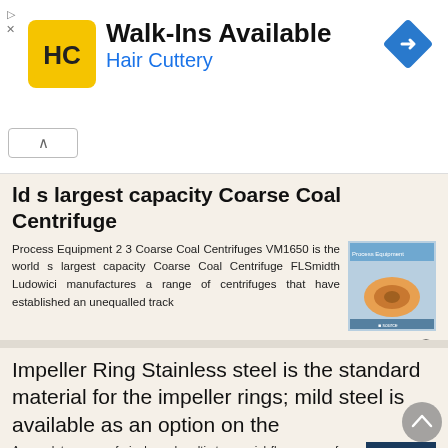[Figure (logo): Hair Cuttery advertisement banner with HC logo, 'Walk-Ins Available' headline, navigation diamond icon]
ld s largest capacity Coarse Coal Centrifuge
Process Equipment 2 3 Coarse Coal Centrifuges VM1650 is the world s largest capacity Coarse Coal Centrifuge FLSmidth Ludowici manufactures a range of centrifuges that have established an unequalled track
[Figure (photo): Process Equipment product image showing industrial centrifuge equipment]
More information →
Impeller Ring Stainless steel is the standard material for the impeller rings; mild steel is available as an option on the
A complete range of single and multi-stage axial flow pumps from 200NB through to
[Figure (photo): Dark blue product brochure image with BREHON branding]